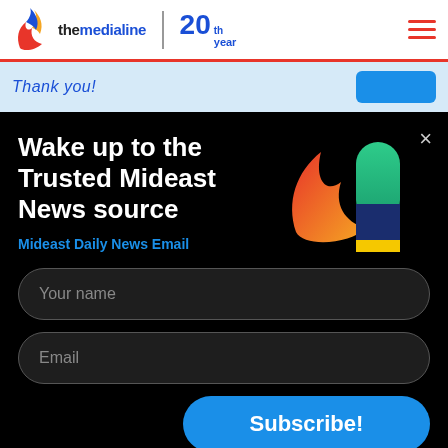[Figure (logo): The Media Line logo with flame icon and '20th year' badge]
Thank you!
Wake up to the Trusted Mideast News source
Mideast Daily News Email
Your name
Email
Subscribe!
By subscribing, you agree to The Media Line terms of use and privacy policy.